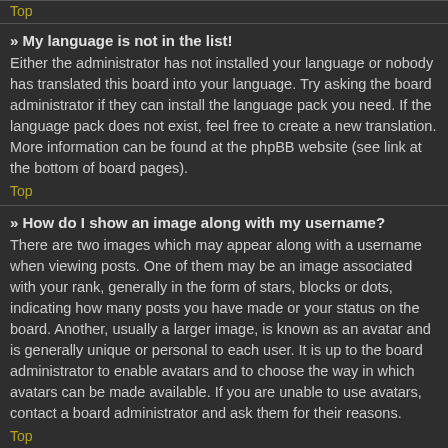Top
» My language is not in the list!
Either the administrator has not installed your language or nobody has translated this board into your language. Try asking the board administrator if they can install the language pack you need. If the language pack does not exist, feel free to create a new translation. More information can be found at the phpBB website (see link at the bottom of board pages).
Top
» How do I show an image along with my username?
There are two images which may appear along with a username when viewing posts. One of them may be an image associated with your rank, generally in the form of stars, blocks or dots, indicating how many posts you have made or your status on the board. Another, usually a larger image, is known as an avatar and is generally unique or personal to each user. It is up to the board administrator to enable avatars and to choose the way in which avatars can be made available. If you are unable to use avatars, contact a board administrator and ask them for their reasons.
Top
» What is my rank and how do I change it?
Ranks, which appear below your username, indicate the number of posts you have made or identify certain users, e.g. moderators and administrators. In general, you cannot directly change the wording